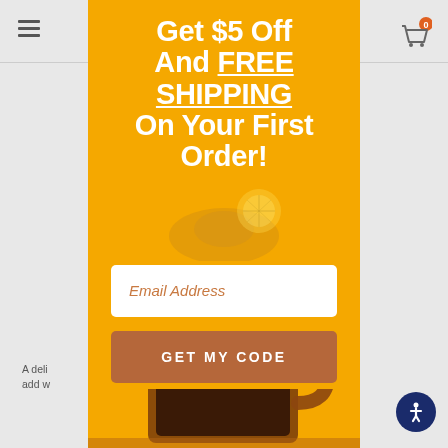[Figure (screenshot): E-commerce website page partially visible behind popup modal, showing hamburger menu icon top-left, cart icon top-right, product description text, SIZE label, size selector buttons, and radio button price options.]
[Figure (infographic): Yellow/orange popup modal overlay promoting '$5 Off And FREE SHIPPING On Your First Order!' with an email address input field, a brown 'GET MY CODE' button, and a photo of a glass mug of dark tea/coffee with steam at the bottom.]